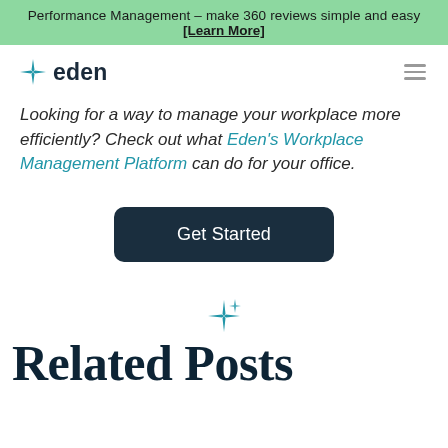Performance Management – make 360 reviews simple and easy [Learn More]
[Figure (logo): Eden logo with sparkle/star icon and bold text 'eden']
Looking for a way to manage your workplace more efficiently? Check out what Eden's Workplace Management Platform can do for your office.
Get Started
[Figure (illustration): Teal sparkle/star decorative icon]
Related Posts